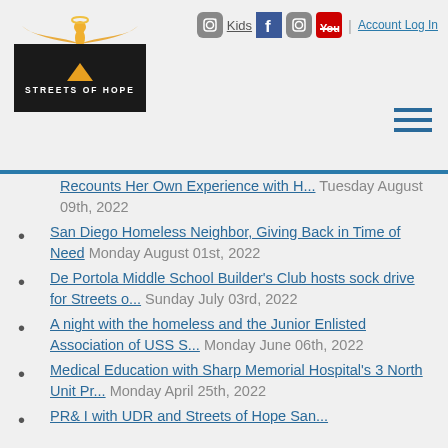Streets of Hope — navigation header with logo, social icons (Kids, Facebook, Instagram, YouTube), Account Log In, and hamburger menu
Recounts Her Own Experience with H... Tuesday August 09th, 2022
San Diego Homeless Neighbor, Giving Back in Time of Need Monday August 01st, 2022
De Portola Middle School Builder's Club hosts sock drive for Streets o... Sunday July 03rd, 2022
A night with the homeless and the Junior Enlisted Association of USS S... Monday June 06th, 2022
Medical Education with Sharp Memorial Hospital's 3 North Unit Pr... Monday April 25th, 2022
PR& I with UDR and Streets of Hope San...